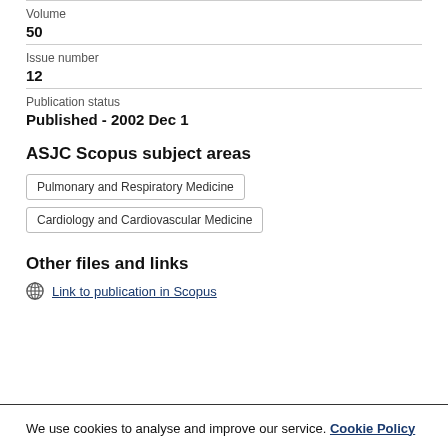Volume
50
Issue number
12
Publication status
Published - 2002 Dec 1
ASJC Scopus subject areas
Pulmonary and Respiratory Medicine
Cardiology and Cardiovascular Medicine
Other files and links
Link to publication in Scopus
We use cookies to analyse and improve our service. Cookie Policy